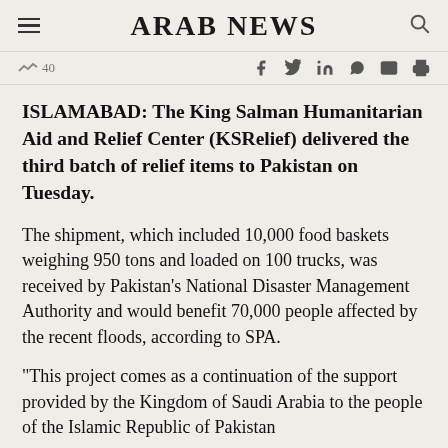ARAB NEWS
~40
ISLAMABAD: The King Salman Humanitarian Aid and Relief Center (KSRelief) delivered the third batch of relief items to Pakistan on Tuesday.
The shipment, which included 10,000 food baskets weighing 950 tons and loaded on 100 trucks, was received by Pakistan’s National Disaster Management Authority and would benefit 70,000 people affected by the recent floods, according to SPA.
“This project comes as a continuation of the support provided by the Kingdom of Saudi Arabia to the people of the Islamic Republic of Pakistan